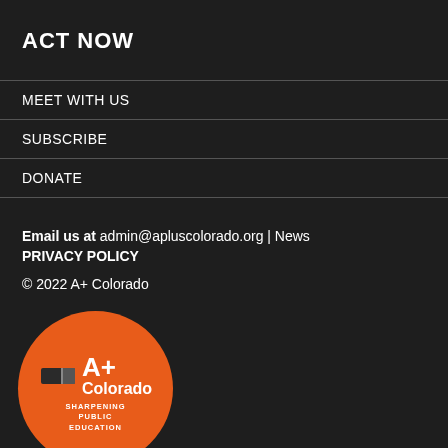ACT NOW
MEET WITH US
SUBSCRIBE
DONATE
Email us at admin@apluscolorado.org | News
PRIVACY POLICY
© 2022 A+ Colorado
[Figure (logo): A+ Colorado logo — orange circle with white eraser icon, 'A+ Colorado' text, and 'SHARPENING PUBLIC EDUCATION' tagline]